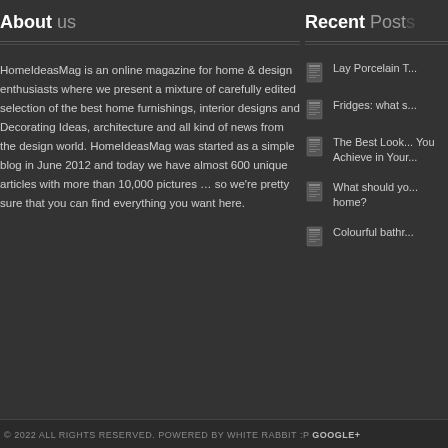About us
HomeIdeasMag is an online magazine for home & design enthusiasts where we present a mixture of carefully edited selection of the best home furnishings, interior designs and Decorating Ideas, architecture and all kind of news from the design world. HomeIdeasMag was started as a simple blog in June 2012 and today we have almost 600 unique articles with more than 10,000 pictures … so we're pretty sure that you can find everything you want here.
Recent Posts
Lay Porcelain T...
Fridges: what s...
The Best Look... You Achieve in Your...
What should yo... home?
Colourful bathr...
© 2022 ALL RIGHTS RESERVED. POWERED BY WHITE RABBIT :P GOOGLE+